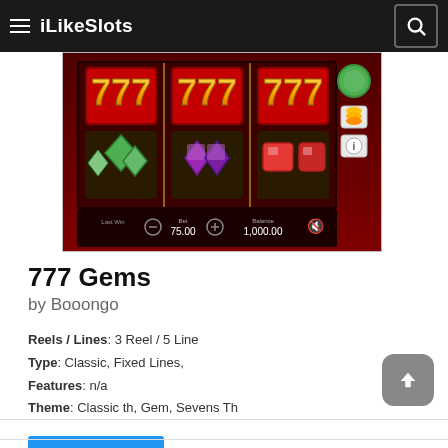iLikeSlots
[Figure (screenshot): 777 Gems slot game screenshot showing three reels with 777 symbols on top row, green diamond gems on left, purple gems in center, red gems on right. Dark red background. Bet: 75.00, Balance: 1,000.00]
777 Gems
by Booongo
Reels / Lines: 3 Reel / 5 Line
Type: Classic, Fixed Lines,
Features: n/a
Theme: Classic th, Gem, Sevens Th
777 Gems